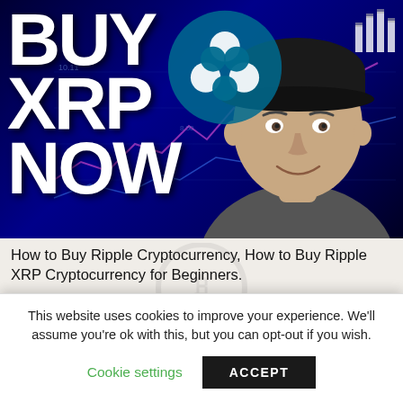[Figure (photo): YouTube thumbnail image showing 'BUY XRP NOW' text in large white bold letters on dark blue background with stock chart lines, Ripple XRP logo (teal circle with wave symbol), and a young man in a gray shirt and black cap smiling at the camera. Small bar chart icon visible in top right corner.]
How to Buy Ripple Cryptocurrency, How to Buy Ripple XRP Cryptocurrency for Beginners.
❝ Produce Your Cash Making Blog Site With
This website uses cookies to improve your experience. We'll assume you're ok with this, but you can opt-out if you wish.
Cookie settings   ACCEPT